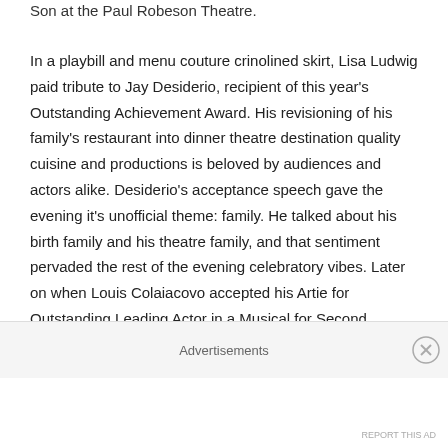Son at the Paul Robeson Theatre.
In a playbill and menu couture crinolined skirt, Lisa Ludwig paid tribute to Jay Desiderio, recipient of this year's Outstanding Achievement Award. His revisioning of his family's restaurant into dinner theatre destination quality cuisine and productions is beloved by audiences and actors alike. Desiderio's acceptance speech gave the evening it's unofficial theme: family. He talked about his birth family and his theatre family, and that sentiment pervaded the rest of the evening celebratory vibes. Later on when Louis Colaiacovo accepted his Artie for Outstanding Leading Actor in a Musical for Second Generation Theatre's production of
Advertisements